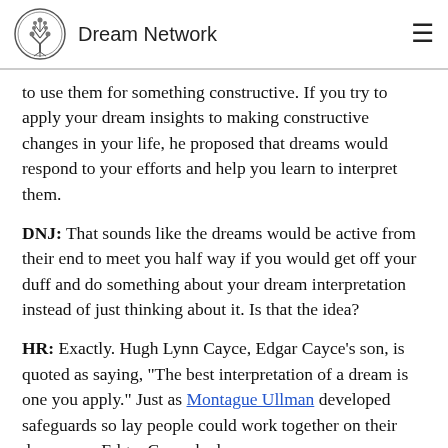Dream Network
to use them for something constructive. If you try to apply your dream insights to making constructive changes in your life, he proposed that dreams would respond to your efforts and help you learn to interpret them.
DNJ: That sounds like the dreams would be active from their end to meet you half way if you would get off your duff and do something about your dream interpretation instead of just thinking about it. Is that the idea?
HR: Exactly. Hugh Lynn Cayce, Edgar Cayce's son, is quoted as saying, "The best interpretation of a dream is one you apply." Just as Montague Ullman developed safeguards so lay people could work together on their dreams, so Edgar Cayce had